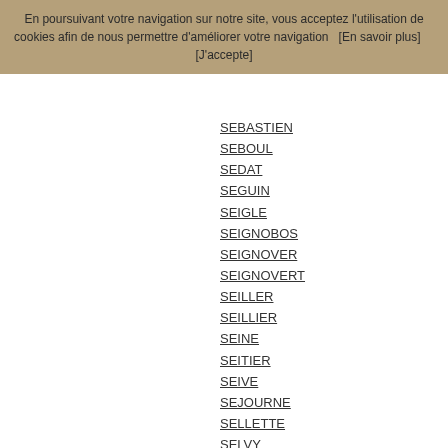En poursuivant votre navigation sur notre site, vous acceptez l'utilisation de cookies afin de nous permettre d'améliorer votre navigation   [En savoir plus]       [J'accepte]
SEBASTIEN
SEBOUL
SEDAT
SEGUIN
SEIGLE
SEIGNOBOS
SEIGNOVER
SEIGNOVERT
SEILLER
SEILLIER
SEINE
SEITIER
SEIVE
SEJOURNE
SELLETTE
SELVY
SENECLAUZE
SENEQUE
SENOUILHET
SERAYET
SERCOURT
SEREY